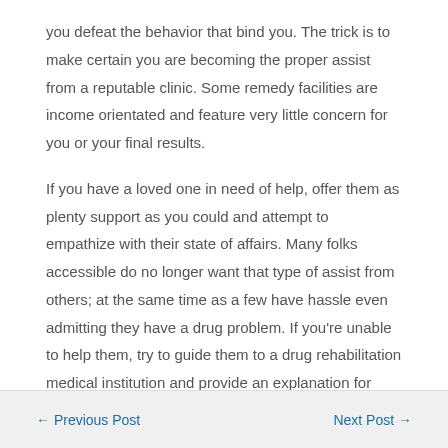you defeat the behavior that bind you. The trick is to make certain you are becoming the proper assist from a reputable clinic. Some remedy facilities are income orientated and feature very little concern for you or your final results.
If you have a loved one in need of help, offer them as plenty support as you could and attempt to empathize with their state of affairs. Many folks accessible do no longer want that type of assist from others; at the same time as a few have hassle even admitting they have a drug problem. If you’re unable to help them, try to guide them to a drug rehabilitation medical institution and provide an explanation for which you need them to live an extended and wholesome lifestyles. They want you to be there for them. You ought to make the sacrifices to be a supporter of someone in problem with drug addiction.
← Previous Post    Next Post →